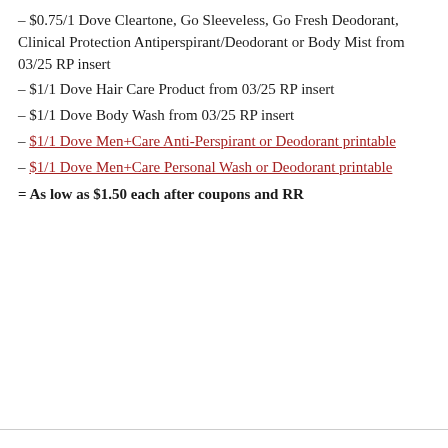– $0.75/1 Dove Cleartone, Go Sleeveless, Go Fresh Deodorant, Clinical Protection Antiperspirant/Deodorant or Body Mist from 03/25 RP insert
– $1/1 Dove Hair Care Product from 03/25 RP insert
– $1/1 Dove Body Wash from 03/25 RP insert
– $1/1 Dove Men+Care Anti-Perspirant or Deodorant printable
– $1/1 Dove Men+Care Personal Wash or Deodorant printable
= As low as $1.50 each after coupons and RR